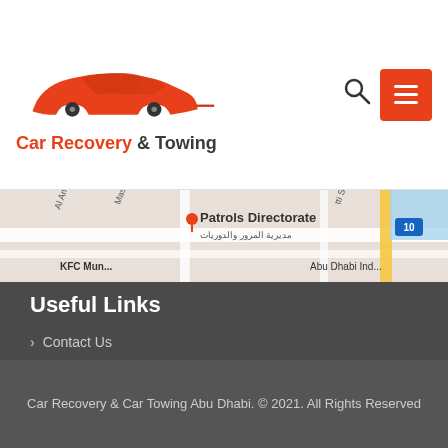[Figure (logo): Car Recovery & Towing logo with red car silhouette and orange/red text]
[Figure (map): Google Maps screenshot showing Patrols Directorate area in Abu Dhabi with Arabic text مديرية المرور والدوريات, street labels Al Amesi, Masi St, and Abu Dhabi Industrial area]
Useful Links
Contact Us
Our Services
Car Recovery & Car Towing Abu Dhabi. © 2021. All Rights Reserved